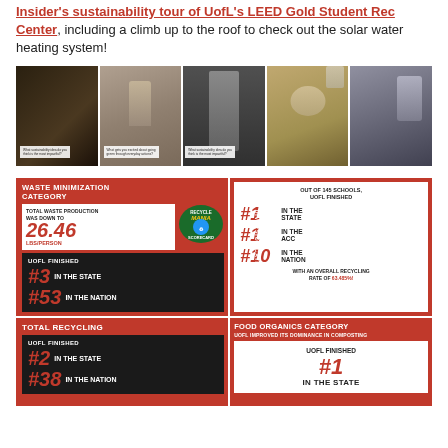Insider's sustainability tour of UofL's LEED Gold Student Rec Center, including a climb up to the roof to check out the solar water heating system!
[Figure (photo): Five-panel photo strip showing sustainability-related items including reusable cups, bottles, utensils, and food containers with caption overlays]
[Figure (infographic): RecycleMania infographic showing UofL's results in Waste Minimization, Diversion, Total Recycling, and Food Organics categories with rankings and statistics]
WASTE MINIMIZATION CATEGORY - TOTAL WASTE PRODUCTION WAS DOWN TO 26.46 LBS/PERSON - UOFL FINISHED #3 IN THE STATE #53 IN THE NATION
DIVERSION CATEGORY - OUT OF 145 SCHOOLS, UOFL FINISHED #1 IN THE STATE #1 IN THE ACC #10 IN THE NATION WITH AN OVERALL RECYCLING RATE OF 63.485%!
TOTAL RECYCLING - UOFL FINISHED #2 IN THE STATE #38 IN THE NATION
FOOD ORGANICS CATEGORY - UOFL IMPROVED ITS DOMINANCE IN COMPOSTING - UOFL FINISHED #1 IN THE STATE